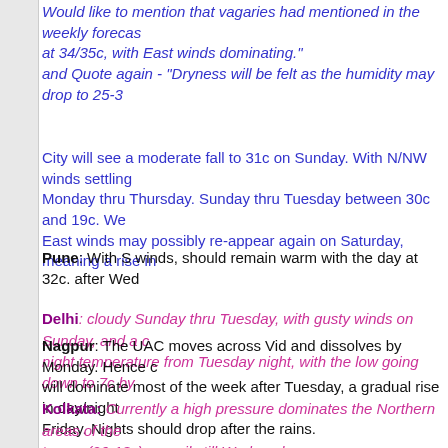Would like to mention that vagaries had mentioned in the weekly forecas... at 34/35c, with East winds dominating." and Quote again - "Dryness will be felt as the humidity may drop to 25-3...
City will see a moderate fall to 31c on Sunday. With N/NW winds settling... Monday thru Thursday. Sunday thru Tuesday between 30c and 19c. We... East winds may possibly re-appear again on Saturday, meaning a rise in...
Pune: With S winds, should remain warm with the day at 32c. after Wed...
Delhi: cloudy Sunday thru Tuesday, with gusty winds on Sunday, and a c... night temperature from Tuesday night, with the low going down to 7c by ...
Nagpur: The UAC moves across Vid and dissolves by Monday. Hence c... will dominate most of the week after Tuesday, a gradual rise in day/night... Friday. Nights should drop after the rains.
Kolkata: Currently a high pressure dominates the Northern areas of the... temps (26-13c) prevails till Wednesday. Wed night will be misty and smoggy.